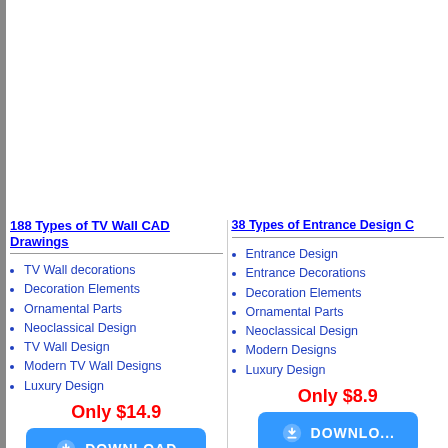188 Types of TV Wall CAD Drawings
TV Wall decorations
Decoration Elements
Ornamental Parts
Neoclassical Design
TV Wall Design
Modern TV Wall Designs
Luxury Design
Only $14.9
[Figure (other): Download button with cloud/arrow icon]
38 Types of Entrance Design C
Entrance Design
Entrance Decorations
Decoration Elements
Ornamental Parts
Neoclassical Design
Modern Designs
Luxury Design
Only $8.9
[Figure (other): Download button with cloud/arrow icon]